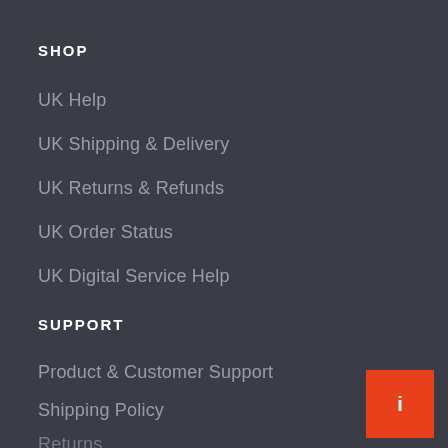SHOP
UK Help
UK Shipping & Delivery
UK Returns & Refunds
UK Order Status
UK Digital Service Help
SUPPORT
Product & Customer Support
Shipping Policy
Returns
Order Status
Bulk Purchase Form
Authorized Dealers